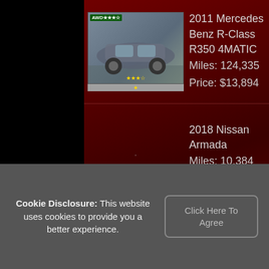[Figure (screenshot): Car thumbnail for 2011 Mercedes Benz R-Class R350 4MATIC with AWD badge and star rating]
2011 Mercedes Benz R-Class R350 4MATIC
Miles: 124,335
Price: $13,894
2018 Nissan Armada
Miles: 10,384
Price: $38,984
[Figure (other): No Image Posted placeholder box for 2012 Toyota Camry]
2012 Toyota Camry
Miles: 88,574
Price: $15,984
Home
Inventory
Credit App
Cookie Disclosure: This website uses cookies to provide you a better experience.
Click Here To Agree